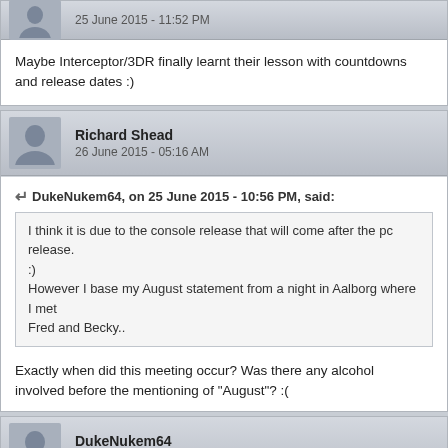25 June 2015 - 11:52 PM
Maybe Interceptor/3DR finally learnt their lesson with countdowns and release dates :)
Richard Shead
26 June 2015 - 05:16 AM
DukeNukem64, on 25 June 2015 - 10:56 PM, said:
I think it is due to the console release that will come after the pc release. :)
However I base my August statement from a night in Aalborg where I met Fred and Becky..
Exactly when did this meeting occur? Was there any alcohol involved before the mentioning of "August"? :(
DukeNukem64
26 June 2015 - 10:34 AM